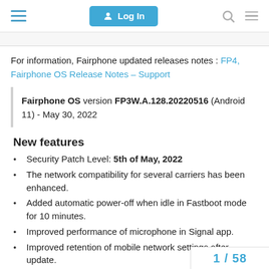Log In
For information, Fairphone updated releases notes : FP4, Fairphone OS Release Notes – Support
Fairphone OS version FP3W.A.128.20220516 (Android 11) - May 30, 2022
New features
Security Patch Level: 5th of May, 2022
The network compatibility for several carriers has been enhanced.
Added automatic power-off when idle in Fastboot mode for 10 minutes.
Improved performance of microphone in Signal app.
Improved retention of mobile network settings after update.
1 / 58